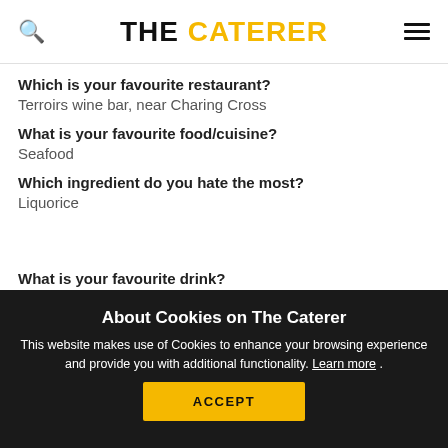THE CATERER
Which is your favourite restaurant?
Terroirs wine bar, near Charing Cross
What is your favourite food/cuisine?
Seafood
Which ingredient do you hate the most?
Liquorice
What is your favourite drink?
About Cookies on The Caterer
This website makes use of Cookies to enhance your browsing experience and provide you with additional functionality. Learn more .
ACCEPT